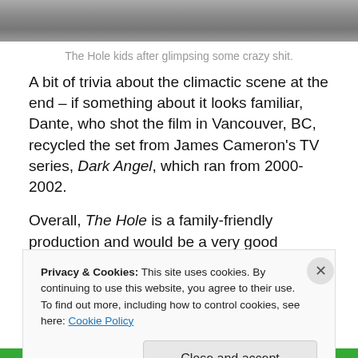[Figure (photo): Bottom portion of a photo showing The Hole kids characters]
The Hole kids after glimpsing some crazy shit.
A bit of trivia about the climactic scene at the end – if something about it looks familiar, Dante, who shot the film in Vancouver, BC, recycled the set from James Cameron's TV series, Dark Angel, which ran from 2000-2002.
Overall, The Hole is a family-friendly production and would be a very good "starter" horror film for children under ten. Older kids will probably be intrigued by the hole itself. As
Privacy & Cookies: This site uses cookies. By continuing to use this website, you agree to their use.
To find out more, including how to control cookies, see here: Cookie Policy
Close and accept